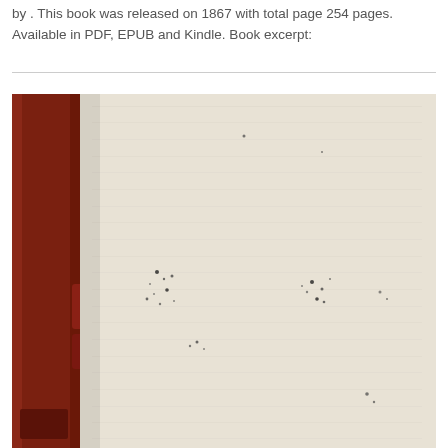by . This book was released on 1867 with total page 254 pages. Available in PDF, EPUB and Kindle. Book excerpt:
[Figure (photo): Photograph of an old book showing its spine and front cover. The spine is covered in dark red/brown leather. The front cover page visible is aged, cream/off-white textured paper with scattered small dark spots and stains, suggesting age and wear.]